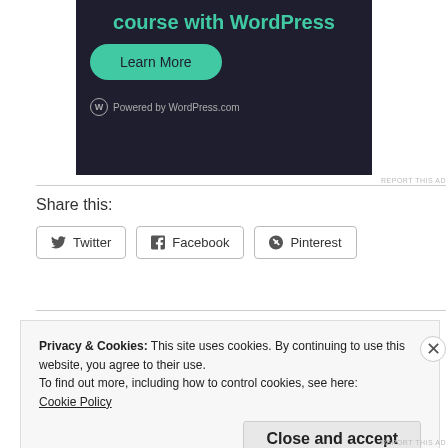[Figure (screenshot): Dark background advertisement banner with teal text 'course with WordPress' and a teal 'Learn More' button, with WordPress.com logo at bottom]
REPORT THIS AD
Share this:
Twitter  Facebook  Pinterest
Privacy & Cookies: This site uses cookies. By continuing to use this website, you agree to their use.
To find out more, including how to control cookies, see here:
Cookie Policy
Close and accept